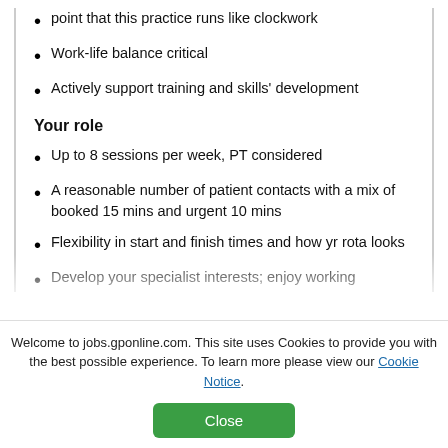point that this practice runs like clockwork
Work-life balance critical
Actively support training and skills' development
Your role
Up to 8 sessions per week, PT considered
A reasonable number of patient contacts with a mix of booked 15 mins and urgent 10 mins
Flexibility in start and finish times and how yr rota looks
Develop your specialist interests; enjoy working
Welcome to jobs.gponline.com. This site uses Cookies to provide you with the best possible experience. To learn more please view our Cookie Notice.